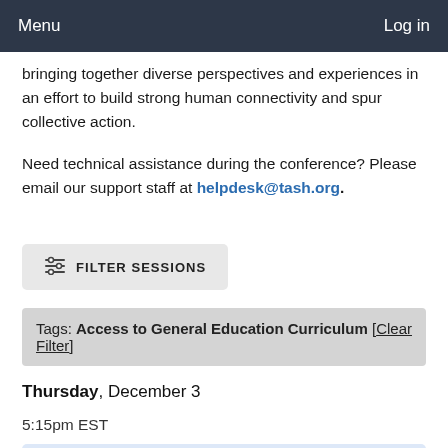Menu   Log in
bringing together diverse perspectives and experiences in an effort to build strong human connectivity and spur collective action.
Need technical assistance during the conference? Please email our support staff at helpdesk@tash.org.
FILTER SESSIONS
Tags: Access to General Education Curriculum [Clear Filter]
Thursday, December 3
5:15pm EST
Best Practices in Service Delivery from the Field of Deaf-Blindness